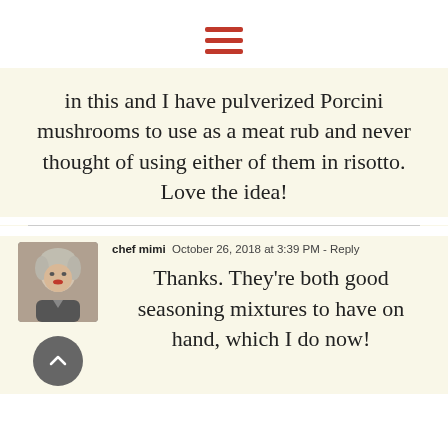[Figure (other): Hamburger menu icon with three red horizontal bars]
in this and I have pulverized Porcini mushrooms to use as a meat rub and never thought of using either of them in risotto. Love the idea!
chef mimi  October 26, 2018 at 3:39 PM - Reply
Thanks. They're both good seasoning mixtures to have on hand, which I do now!